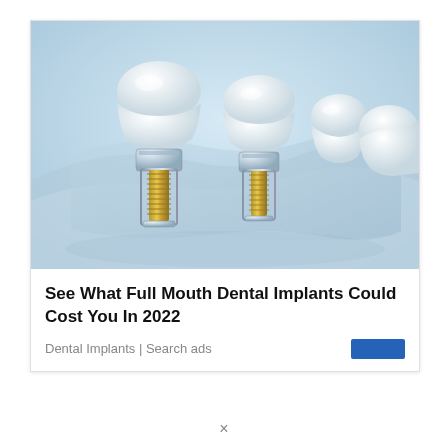[Figure (photo): 3D render of dental implants with white ceramic crowns attached to metallic screw posts embedded in a transparent jaw model, light blue background]
See What Full Mouth Dental Implants Could Cost You In 2022
Dental Implants | Search ads